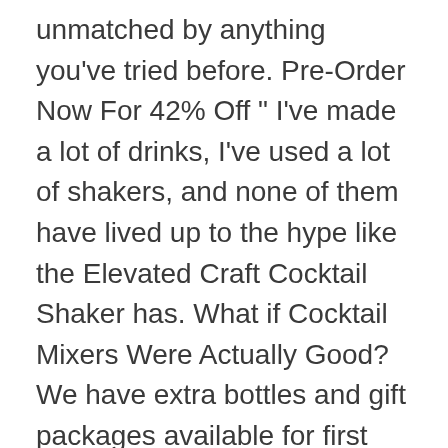unmatched by anything you've tried before. Pre-Order Now For 42% Off " I've made a lot of drinks, I've used a lot of shakers, and none of them have lived up to the hype like the Elevated Craft Cocktail Shaker has. What if Cocktail Mixers Were Actually Good? We have extra bottles and gift packages available for first come, first serve (until sold out): Tuesday, 12/22 from 3:00-6:00 Order cocktail kits with recipes from the nation's top bartenders delivered right to your door. While it's important to use high-quality spirits in your drinks, the fact remains: Your cocktail is only as good as your mixer. 18 Products Found. Whether you refer to it as Olive Juice, Olive Brine or Martini Juice the Durty Gurl Cocktail Mixers Olive Juice is the ingredient you've been looking for. Our Classic Ginger Mule craft mixer is made from pounds of fresh ginger, lime juice, and aromatic bitters. It delivers a full-bodied, savory, and balanced